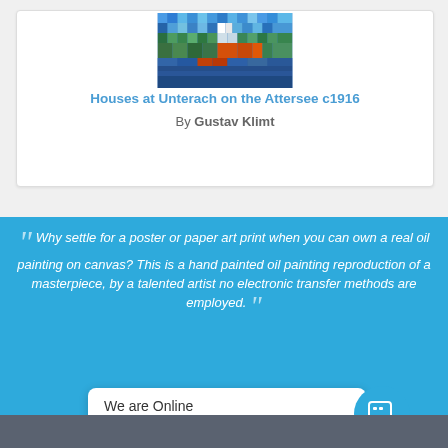[Figure (photo): Mosaic-style colorful painting of houses at Unterach on the Attersee by Gustav Klimt]
Houses at Unterach on the Attersee c1916
By Gustav Klimt
Why settle for a poster or paper art print when you can own a real oil painting on canvas? This is a hand painted oil painting reproduction of a masterpiece, by a talented artist no electronic transfer methods are employed.
We are Online
Ask about our Special Offers